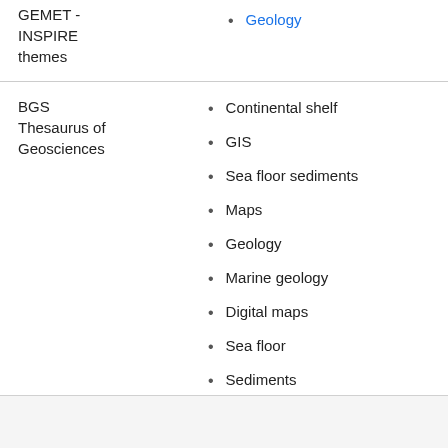GEMET - INSPIRE themes
Geology
BGS Thesaurus of Geosciences
Continental shelf
GIS
Sea floor sediments
Maps
Geology
Marine geology
Digital maps
Sea floor
Sediments
Grain size analysis
Data